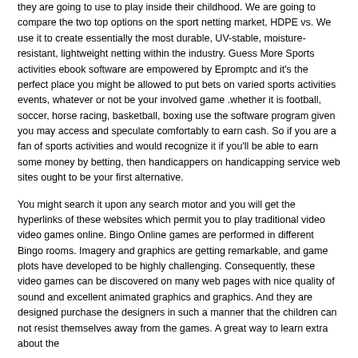they are going to use to play inside their childhood. We are going to compare the two top options on the sport netting market, HDPE vs. We use it to create essentially the most durable, UV-stable, moisture-resistant, lightweight netting within the industry. Guess More Sports activities ebook software are empowered by Epromptc and it's the perfect place you might be allowed to put bets on varied sports activities events, whatever or not be your involved game .whether it is football, soccer, horse racing, basketball, boxing use the software program given you may access and speculate comfortably to earn cash. So if you are a fan of sports activities and would recognize it if you'll be able to earn some money by betting, then handicappers on handicapping service web sites ought to be your first alternative.
You might search it upon any search motor and you will get the hyperlinks of these websites which permit you to play traditional video video games online. Bingo Online games are performed in different Bingo rooms. Imagery and graphics are getting remarkable, and game plots have developed to be highly challenging. Consequently, these video games can be discovered on many web pages with nice quality of sound and excellent animated graphics and graphics. And they are designed purchase the designers in such a manner that the children can not resist themselves away from the games. A great way to learn extra about the